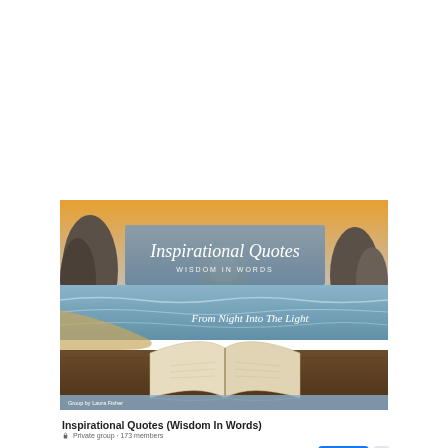[Figure (illustration): Facebook group cover photo for 'Inspirational Quotes (Wisdom In Words)'. Shows a beach scene at sunset/sunrise with rocks, ocean waves, and an open book on a wooden deck in the foreground. A blue semi-transparent overlay box contains the text 'Inspirational Quotes' in large white italic font and 'WISDOM IN WORDS' in smaller text. Below the box, 'From Night Into The Light' appears in white italic text. Bottom left corner has 'Group by Laura Fisher' in small white text.]
Inspirational Quotes (Wisdom In Words)
🔒 Private group · 173 members
About   Discussion   Join Group   ···